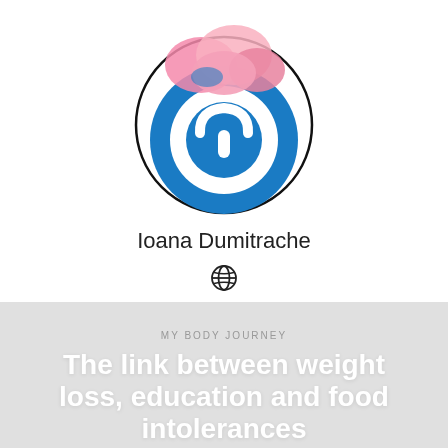[Figure (logo): Circular logo with blue ring and white inner circle, pink/blue abstract shape on top, with a thin black circle outline. Appears to be a health/wellness brand logo.]
Ioana Dumitrache
[Figure (other): Globe/world icon (circle with latitude/longitude lines)]
MY BODY JOURNEY
The link between weight loss, education and food intolerances
JULY 6, 2020  ·  IOANA DUMITRACHE
English
SEE ARTICLE